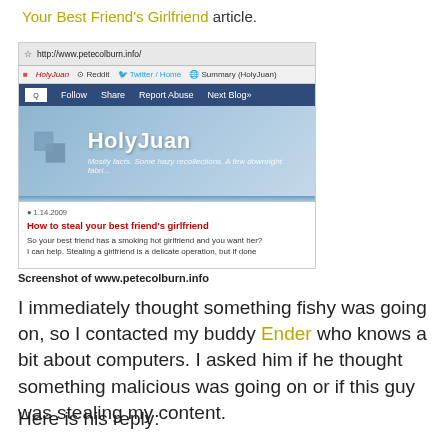Your Best Friend's Girlfriend article.
[Figure (screenshot): Screenshot of the HolyJuan blog at www.petecolburn.info showing a post titled 'How to steal your best friend's girlfriend' dated 1.14.2009, with blog subtitle 'Mostly facts. Some hazy recollections. A few downright fabri...']
Screenshot of www.petecolburn.info
I immediately thought something fishy was going on, so I contacted my buddy Ender who knows a bit about computers. I asked him if he thought something malicious was going on or if this guy was stealing my content.
Here is his reply: